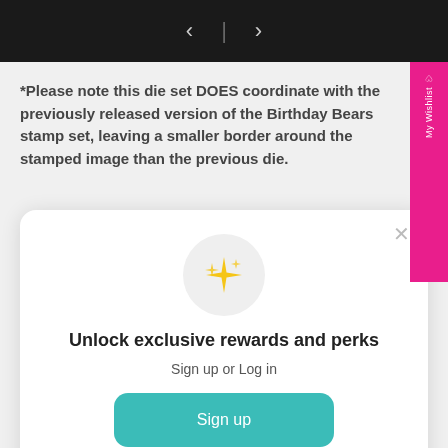[Figure (screenshot): Top navigation bar with back/forward arrows on dark background]
*Please note this die set DOES coordinate with the previously released version of the Birthday Bears stamp set, leaving a smaller border around the stamped image than the previous die.
[Figure (screenshot): Modal popup with sparkle icon, 'Unlock exclusive rewards and perks' heading, Sign up or Log in text, Sign up button, and Already have an account? Sign in link]